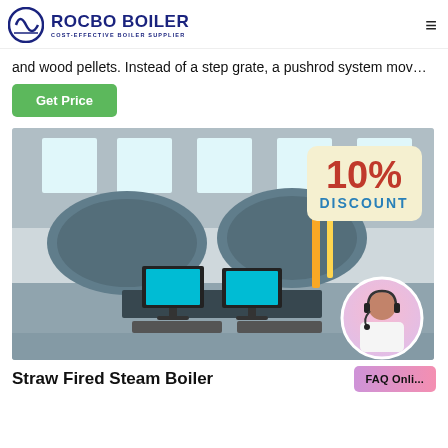ROCBO BOILER — COST-EFFECTIVE BOILER SUPPLIER
and wood pellets. Instead of a step grate, a pushrod system mov…
Get Price
[Figure (photo): Industrial boiler factory interior with large horizontal boilers, control monitors, and a 10% DISCOUNT badge overlay with a customer service representative avatar]
Straw Fired Steam Boiler
FAQ Online